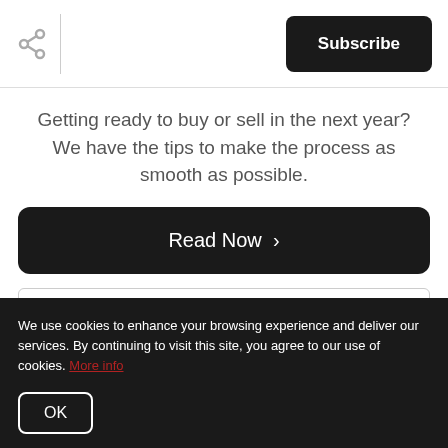Subscribe
Getting ready to buy or sell in the next year? We have the tips to make the process as smooth as possible.
Read Now >
Subscribe
We use cookies to enhance your browsing experience and deliver our services. By continuing to visit this site, you agree to our use of cookies. More info
OK